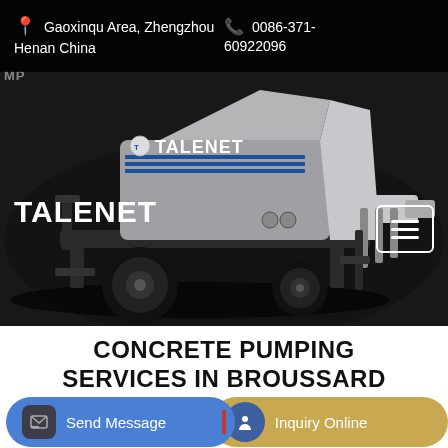Gaoxinqu Area, Zhengzhou Henan China | 0086-371-60922096
[Figure (photo): Talenet branded concrete pump truck on dark background]
MP
TALENET
CONCRETE PUMPING SERVICES IN BROUSSARD LA
Send Message
Inquiry Online